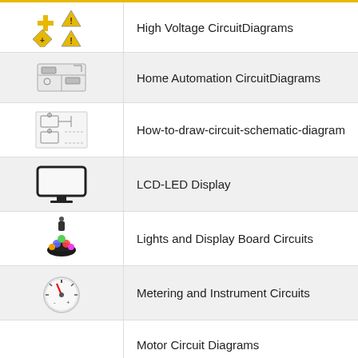High Voltage CircuitDiagrams
Home Automation CircuitDiagrams
How-to-draw-circuit-schematic-diagram
LCD-LED Display
Lights and Display Board Circuits
Metering and Instrument Circuits
Motor Circuit Diagrams
Power Supplies